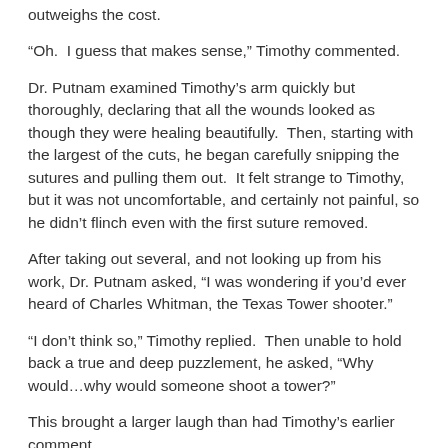outweighs the cost.
“Oh.  I guess that makes sense,” Timothy commented.
Dr. Putnam examined Timothy’s arm quickly but thoroughly, declaring that all the wounds looked as though they were healing beautifully.  Then, starting with the largest of the cuts, he began carefully snipping the sutures and pulling them out.  It felt strange to Timothy, but it was not uncomfortable, and certainly not painful, so he didn’t flinch even with the first suture removed.
After taking out several, and not looking up from his work, Dr. Putnam asked, “I was wondering if you’d ever heard of Charles Whitman, the Texas Tower shooter.”
“I don’t think so,” Timothy replied.  Then unable to hold back a true and deep puzzlement, he asked, “Why would…why would someone shoot a tower?”
This brought a larger laugh than had Timothy’s earlier comment